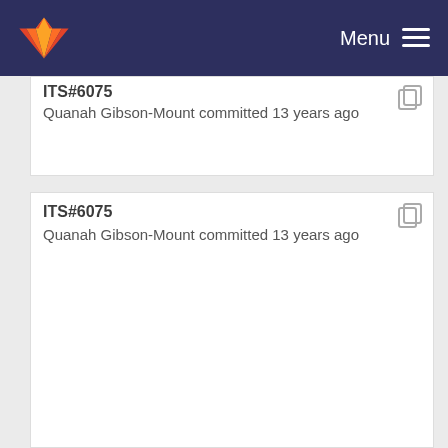Menu
ITS#6075 — Quanah Gibson-Mount committed 13 years ago (partial, top card)
ITS#6075
Quanah Gibson-Mount committed 13 years ago